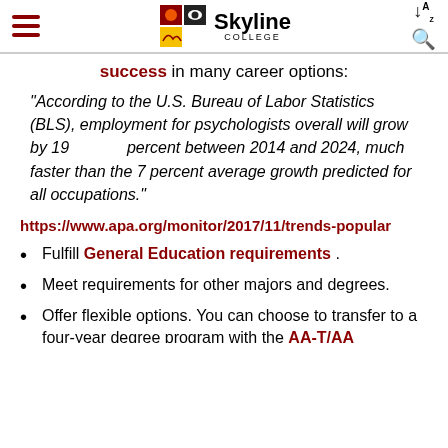Skyline College
success in many career options:
"According to the U.S. Bureau of Labor Statistics (BLS), employment for psychologists overall will grow by 19 percent between 2014 and 2024, much faster than the 7 percent average growth predicted for all occupations."
https://www.apa.org/monitor/2017/11/trends-popular
Fulfill General Education requirements .
Meet requirements for other majors and degrees.
Offer flexible options. You can choose to transfer to a four-year degree program with the AA-T/AA